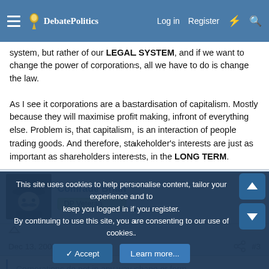DebatePolitics — Log in  Register
system, but rather of our LEGAL SYSTEM, and if we want to change the power of corporations, all we have to do is change the law.

As I see it corporations are a bastardisation of capitalism. Mostly because they will maximise profit making, infront of everything else. Problem is, that capitalism, is an interaction of people trading goods. And therefore, stakeholder's interests are just as important as shareholders interests, in the LONG TERM.
Comrade Brian
DP Veteran
Dec 13, 2005  #3
Corporations do not in any way shape or form...
This site uses cookies to help personalise content, tailor your experience and to keep you logged in if you register.
By continuing to use this site, you are consenting to our use of cookies.